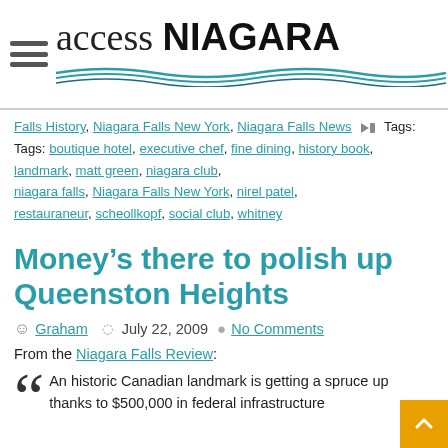access NIAGARA
Falls History, Niagara Falls New York, Niagara Falls News  Tags: Tags: boutique hotel, executive chef, fine dining, history book, landmark, matt green, niagara club, niagara falls, Niagara Falls New York, nirel patel, restauraneur, scheollkopf, social club, whitney
Money’s there to polish up Queenston Heights
Graham  July 22, 2009  No Comments
From the Niagara Falls Review:
An historic Canadian landmark is getting a spruce up thanks to $500,000 in federal infrastructure